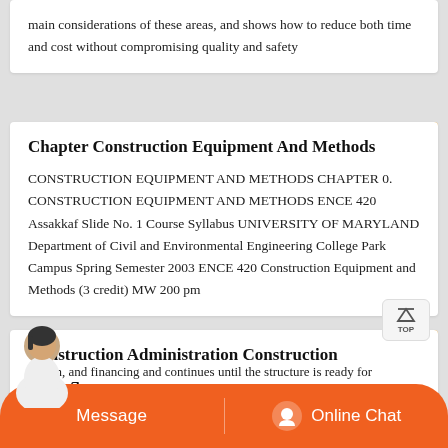main considerations of these areas, and shows how to reduce both time and cost without compromising quality and safety
Chapter Construction Equipment And Methods
CONSTRUCTION EQUIPMENT AND METHODS CHAPTER 0. CONSTRUCTION EQUIPMENT AND METHODS ENCE 420 Assakkaf Slide No. 1 Course Syllabus UNIVERSITY OF MARYLAND Department of Civil and Environmental Engineering College Park Campus Spring Semester 2003 ENCE 420 Construction Equipment and Methods (3 credit) MW 200 pm
Construction Administration Construction Management
design, and financing and continues until the structure is ready for